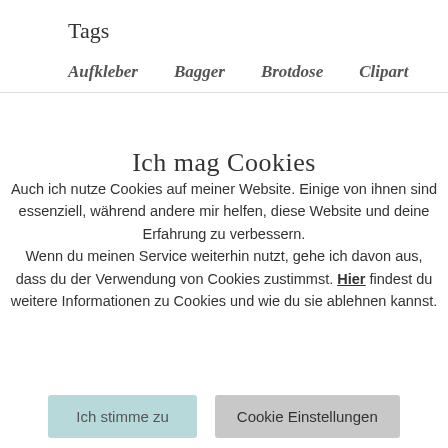Tags
Aufkleber
Bagger
Brotdose
Clipart
Ich mag Cookies
Auch ich nutze Cookies auf meiner Website. Einige von ihnen sind essenziell, während andere mir helfen, diese Website und deine Erfahrung zu verbessern. Wenn du meinen Service weiterhin nutzt, gehe ich davon aus, dass du der Verwendung von Cookies zustimmst. Hier findest du weitere Informationen zu Cookies und wie du sie ablehnen kannst.
Ich stimme zu
Cookie Einstellungen